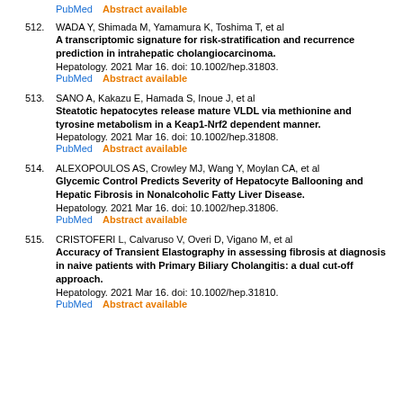PubMed    Abstract available
512. WADA Y, Shimada M, Yamamura K, Toshima T, et al
A transcriptomic signature for risk-stratification and recurrence prediction in intrahepatic cholangiocarcinoma.
Hepatology. 2021 Mar 16. doi: 10.1002/hep.31803.
PubMed    Abstract available
513. SANO A, Kakazu E, Hamada S, Inoue J, et al
Steatotic hepatocytes release mature VLDL via methionine and tyrosine metabolism in a Keap1-Nrf2 dependent manner.
Hepatology. 2021 Mar 16. doi: 10.1002/hep.31808.
PubMed    Abstract available
514. ALEXOPOULOS AS, Crowley MJ, Wang Y, Moylan CA, et al
Glycemic Control Predicts Severity of Hepatocyte Ballooning and Hepatic Fibrosis in Nonalcoholic Fatty Liver Disease.
Hepatology. 2021 Mar 16. doi: 10.1002/hep.31806.
PubMed    Abstract available
515. CRISTOFERI L, Calvaruso V, Overi D, Vigano M, et al
Accuracy of Transient Elastography in assessing fibrosis at diagnosis in naive patients with Primary Biliary Cholangitis: a dual cut-off approach.
Hepatology. 2021 Mar 16. doi: 10.1002/hep.31810.
PubMed    Abstract available